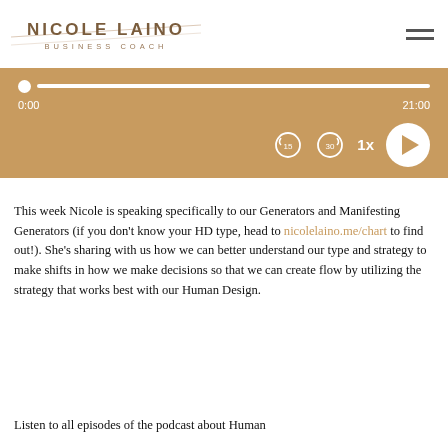NICOLE LAINO · BUSINESS COACH
[Figure (screenshot): Audio player with golden/tan background showing progress bar at 0:00 of 21:00, with rewind 15s, forward 30s, 1x speed, and play button controls]
This week Nicole is speaking specifically to our Generators and Manifesting Generators (if you don't know your HD type, head to nicolelaino.me/chart to find out!). She's sharing with us how we can better understand our type and strategy to make shifts in how we make decisions so that we can create flow by utilizing the strategy that works best with our Human Design.
Listen to all episodes of the podcast about Human